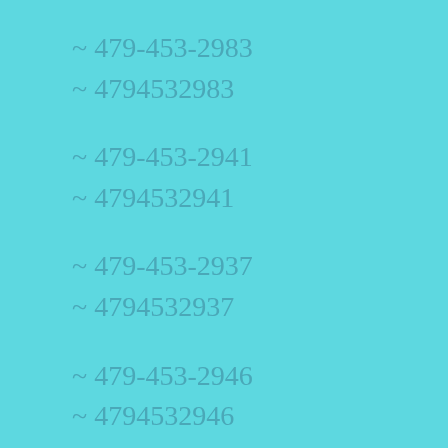~ 479-453-2983
~ 4794532983
~ 479-453-2941
~ 4794532941
~ 479-453-2937
~ 4794532937
~ 479-453-2946
~ 4794532946
~ 479-453-2917